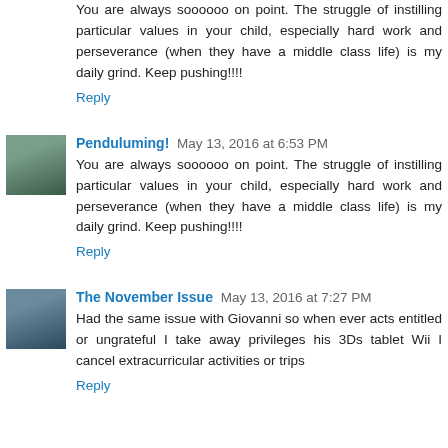You are always soooooo on point. The struggle of instilling particular values in your child, especially hard work and perseverance (when they have a middle class life) is my daily grind. Keep pushing!!!!
Reply
Penduluming! May 13, 2016 at 6:53 PM
You are always soooooo on point. The struggle of instilling particular values in your child, especially hard work and perseverance (when they have a middle class life) is my daily grind. Keep pushing!!!!
Reply
The November Issue May 13, 2016 at 7:27 PM
Had the same issue with Giovanni so when ever acts entitled or ungrateful I take away privileges his 3Ds tablet Wii I cancel extracurricular activities or trips
Reply